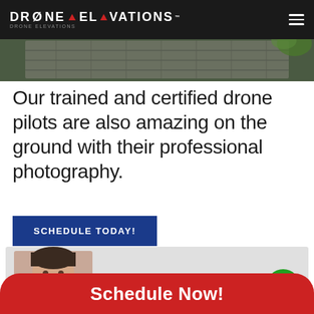DRONE ELEVATIONS
[Figure (photo): Aerial drone photo of a rooftop/building from above, showing shingles and surrounding greenery]
Our trained and certified drone pilots are also amazing on the ground with their professional photography.
SCHEDULE TODAY!
[Figure (photo): Professional headshot of a middle-aged man in a dark blazer with a yellow shirt, smiling]
Schedule Now!